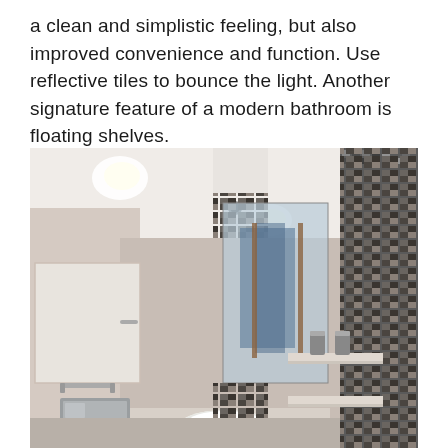a clean and simplistic feeling, but also improved convenience and function. Use reflective tiles to bounce the light. Another signature feature of a modern bathroom is floating shelves.
[Figure (photo): Interior photograph of a modern bathroom featuring a white vessel sink, large rectangular mirror framed with mosaic tiles, floating shelves with chrome accessories, recessed ceiling lights, and a mosaic tile accent wall on the right side.]